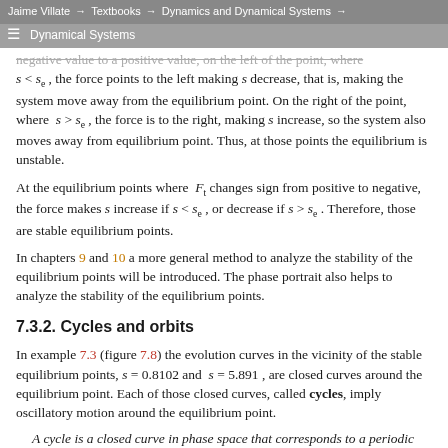Jaime Villate → Textbooks → Dynamics and Dynamical Systems →
Dynamical Systems
negative value to a positive value, on the left of the point, where s < se , the force points to the left making s decrease, that is, making the system move away from the equilibrium point. On the right of the point, where s > se , the force is to the right, making s increase, so the system also moves away from equilibrium point. Thus, at those points the equilibrium is unstable.
At the equilibrium points where Ft changes sign from positive to negative, the force makes s increase if s < se , or decrease if s > se . Therefore, those are stable equilibrium points.
In chapters 9 and 10 a more general method to analyze the stability of the equilibrium points will be introduced. The phase portrait also helps to analyze the stability of the equilibrium points.
7.3.2. Cycles and orbits
In example 7.3 (figure 7.8) the evolution curves in the vicinity of the stable equilibrium points, s = 0.8102 and s = 5.891 , are closed curves around the equilibrium point. Each of those closed curves, called cycles, imply oscillatory motion around the equilibrium point.
A cycle is a closed curve in phase space that corresponds to a periodic oscillation of the state variables.
[Figure (illustration): Partial view of a phase portrait diagram showing closed curves (cycles/orbits) around equilibrium points, with red and teal/turquoise colored closed curve regions visible at the bottom of the page.]